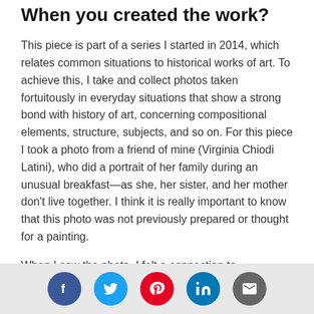When you created the work?
This piece is part of a series I started in 2014, which relates common situations to historical works of art. To achieve this, I take and collect photos taken fortuitously in everyday situations that show a strong bond with history of art, concerning compositional elements, structure, subjects, and so on. For this piece I took a photo from a friend of mine (Virginia Chiodi Latini), who did a portrait of her family during an unusual breakfast—as she, her sister, and her mother don't live together. I think it is really important to know that this photo was not previously prepared or thought for a painting.
When I saw the photo, I felt a connection to Renaissance painting, specifically the theme of
[Figure (infographic): Social media share buttons: Facebook (blue circle), Twitter (light blue circle), Pinterest (red circle), LinkedIn (blue circle), Email (gray circle)]